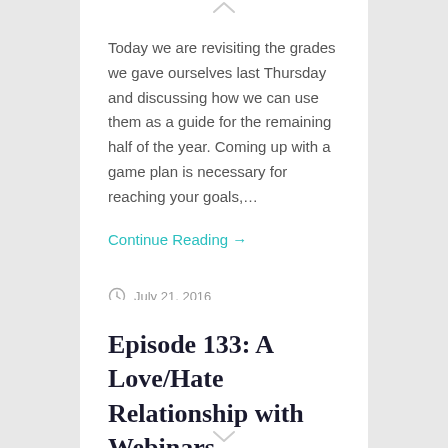Today we are revisiting the grades we gave ourselves last Thursday and discussing how we can use them as a guide for the remaining half of the year. Coming up with a game plan is necessary for reaching your goals,…
Continue Reading →
July 21, 2016
Episode 133: A Love/Hate Relationship with Webinars